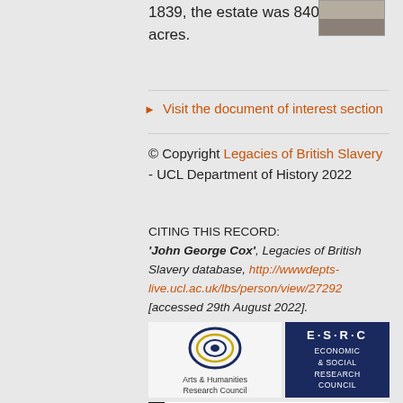1839, the estate was 840 acres.
Visit the document of interest section
© Copyright Legacies of British Slavery - UCL Department of History 2022
CITING THIS RECORD: 'John George Cox', Legacies of British Slavery database, http://wwwdepts-live.ucl.ac.uk/lbs/person/view/27292 [accessed 29th August 2022].
[Figure (logo): Arts & Humanities Research Council logo with circular gold/dark blue design]
[Figure (logo): ESRC Economic & Social Research Council logo with dark navy background and white text]
[Figure (logo): Hutchins Center logo partially visible at bottom]